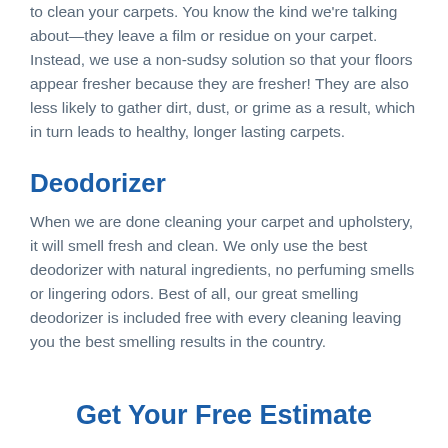to clean your carpets. You know the kind we're talking about—they leave a film or residue on your carpet. Instead, we use a non-sudsy solution so that your floors appear fresher because they are fresher! They are also less likely to gather dirt, dust, or grime as a result, which in turn leads to healthy, longer lasting carpets.
Deodorizer
When we are done cleaning your carpet and upholstery, it will smell fresh and clean. We only use the best deodorizer with natural ingredients, no perfuming smells or lingering odors. Best of all, our great smelling deodorizer is included free with every cleaning leaving you the best smelling results in the country.
Get Your Free Estimate